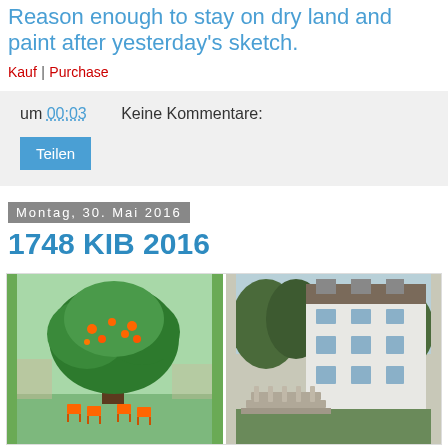Reason enough to stay on dry land and paint after yesterday's sketch.
Kauf | Purchase
um 00:03    Keine Kommentare:
Teilen
Montag, 30. Mai 2016
1748 KIB 2016
[Figure (photo): Two side-by-side photos: left shows a large green tree with orange chairs underneath in a park; right shows a white multi-story building with trees and a stone balustrade staircase.]